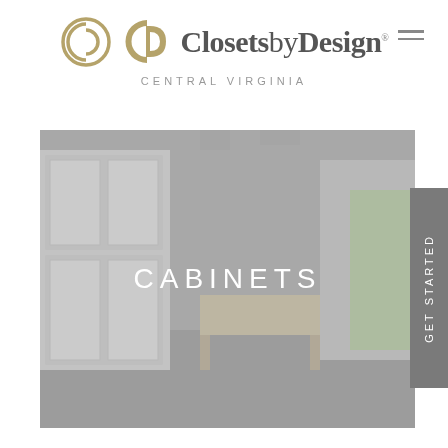[Figure (logo): Closets by Design logo with circular CD monogram in gold/tan and brand name in gray serif font, with CENTRAL VIRGINIA subtitle in gray spaced caps]
[Figure (photo): Interior photo of a large white cabinet and storage system in a bright garage or utility room, with overhead lighting and an open door to outdoors. Text overlay reads CABINETS in white capital letters.]
GET STARTED